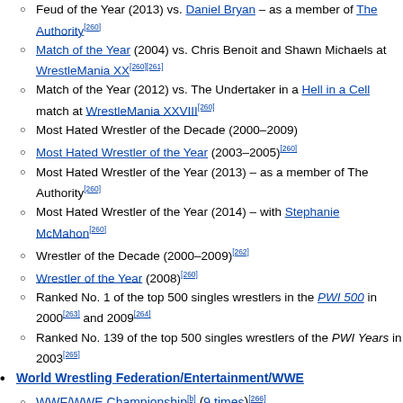Feud of the Year (2013) vs. Daniel Bryan – as a member of The Authority[260]
Match of the Year (2004) vs. Chris Benoit and Shawn Michaels at WrestleMania XX[260][261]
Match of the Year (2012) vs. The Undertaker in a Hell in a Cell match at WrestleMania XXVIII[260]
Most Hated Wrestler of the Decade (2000–2009)
Most Hated Wrestler of the Year (2003–2005)[260]
Most Hated Wrestler of the Year (2013) – as a member of The Authority[260]
Most Hated Wrestler of the Year (2014) – with Stephanie McMahon[260]
Wrestler of the Decade (2000–2009)[262]
Wrestler of the Year (2008)[260]
Ranked No. 1 of the top 500 singles wrestlers in the PWI 500 in 2000[263] and 2009[264]
Ranked No. 139 of the top 500 singles wrestlers of the PWI Years in 2003[265]
World Wrestling Federation/Entertainment/WWE
WWF/WWE Championship[b] (9 times)[266]
World Heavyweight Championship (5 times)[267]
WWF/WWE Intercontinental Championship (5 times)